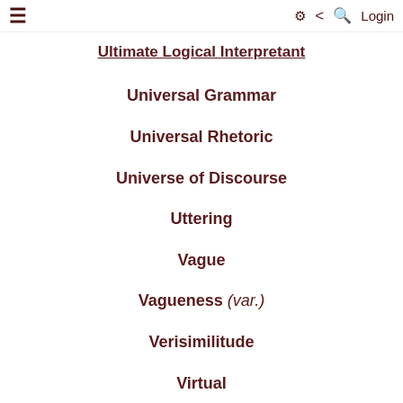≡  ⚙ < Q  Login
Ultimate Logical Interpretant
Universal Grammar
Universal Rhetoric
Universe of Discourse
Uttering
Vague
Vagueness (var.)
Verisimilitude
Virtual
Volition